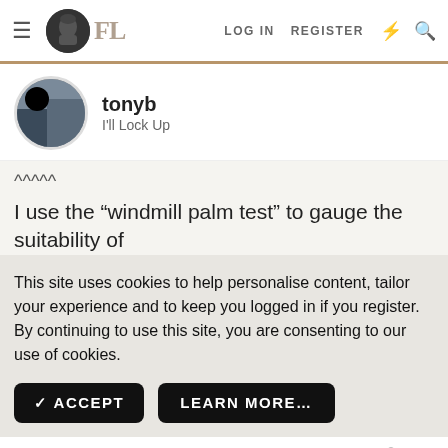FL  LOG IN  REGISTER
tonyb
I'll Lock Up
^^^^^
I use the “windmill palm test” to gauge the suitability of
This site uses cookies to help personalise content, tailor your experience and to keep you logged in if you register.
By continuing to use this site, you are consenting to our use of cookies.
✓ ACCEPT    LEARN MORE…
Mar 10, 2021    #55
LizzieMaine
Bartender